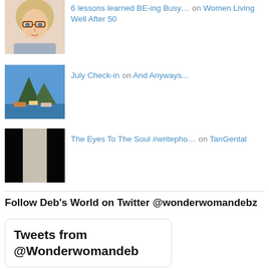[Figure (photo): Thumbnail of a woman with glasses and blonde hair]
6 lessons learned BE-ing Busy… on Women Living Well After 50
[Figure (photo): Thumbnail of a mountain and harbor scene]
July Check-in on And Anyways...
[Figure (photo): Thumbnail of a dark silhouette with light coming through a narrow opening]
The Eyes To The Soul #writepho… on TanGental
Follow Deb's World on Twitter @wonderwomandebz
Tweets from @Wonderwomandeb